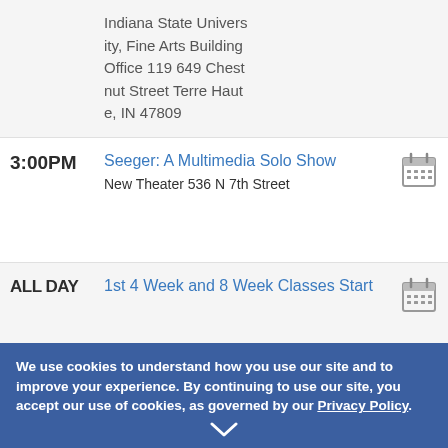Indiana State University, Fine Arts Building Office 119 649 Chestnut Street Terre Haute, IN 47809
3:00PM — Seeger: A Multimedia Solo Show — New Theater 536 N 7th Street
ALL DAY — 1st 4 Week and 8 Week Classes Start
9:00AM — Workshop on
We use cookies to understand how you use our site and to improve your experience. By continuing to use our site, you accept our use of cookies, as governed by our Privacy Policy.